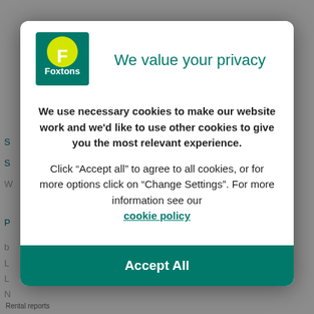[Figure (logo): Foxtons logo: green rectangle background with yellow circle containing white letter F, and 'Foxtons' text below in white on green]
We value your privacy
We use necessary cookies to make our website work and we'd like to use other cookies to give you the most relevant experience.
Click “Accept all” to agree to all cookies, or for more options click on “Change Settings”. For more information see our cookie policy
Accept All